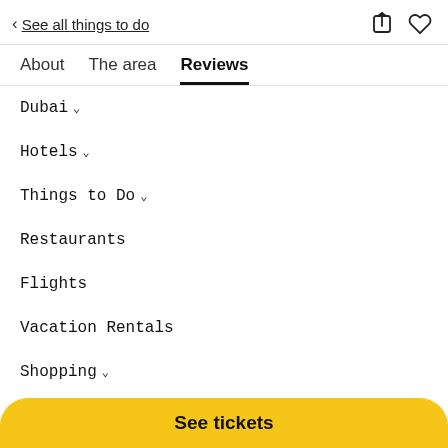< See all things to do
About
The area
Reviews
Dubai ∨
Hotels ∨
Things to Do ∨
Restaurants
Flights
Vacation Rentals
Shopping ∨
See tickets